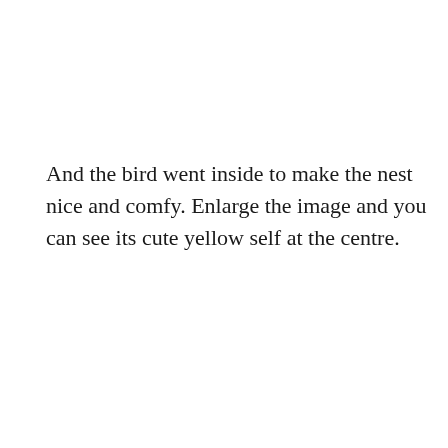And the bird went inside to make the nest nice and comfy. Enlarge the image and you can see its cute yellow self at the centre.